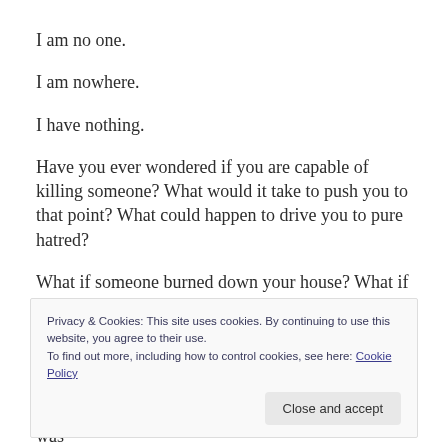I am no one.
I am nowhere.
I have nothing.
Have you ever wondered if you are capable of killing someone? What would it take to push you to that point? What could happen to drive you to pure hatred?
What if someone burned down your house? What if someone beat you black and blue? What if someone
Privacy & Cookies: This site uses cookies. By continuing to use this website, you agree to their use.
To find out more, including how to control cookies, see here: Cookie Policy
someone raped your wife, brutalized her until she was